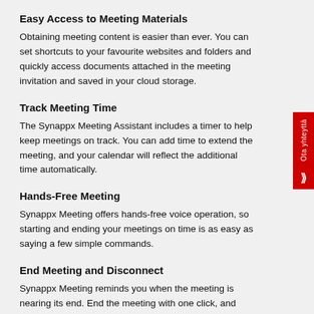Easy Access to Meeting Materials
Obtaining meeting content is easier than ever. You can set shortcuts to your favourite websites and folders and quickly access documents attached in the meeting invitation and saved in your cloud storage.
Track Meeting Time
The Synappx Meeting Assistant includes a timer to help keep meetings on track. You can add time to extend the meeting, and your calendar will reflect the additional time automatically.
Hands-Free Meeting
Synappx Meeting offers hands-free voice operation, so starting and ending your meetings on time is as easy as saying a few simple commands.
End Meeting and Disconnect
Synappx Meeting reminds you when the meeting is nearing its end. End the meeting with one click, and Synappx Meeting automatically disconnects the technologies, allowing the next